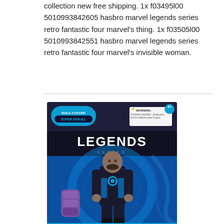collection new free shipping. 1x f03495l00 5010993842605 hasbro marvel legends series retro fantastic four marvel's thing. 1x f03505l00 5010993842551 hasbro marvel legends series retro fantastic four marvel's invisible woman.
[Figure (photo): Product photo of a Hasbro Marvel Legends Series action figure in packaging. The box is black with blue accents, labeled 'LEGENDS SERIES' and 'Build a Figure Super Skrull'. The figure appears to be a male character in a black and blue suit with a circular chest emblem. A purple accessory (hand/arm) is shown separately to the left of the figure. The background in the package shows a blue cosmic/alien themed design. Box includes age rating 4+ and warning label.]